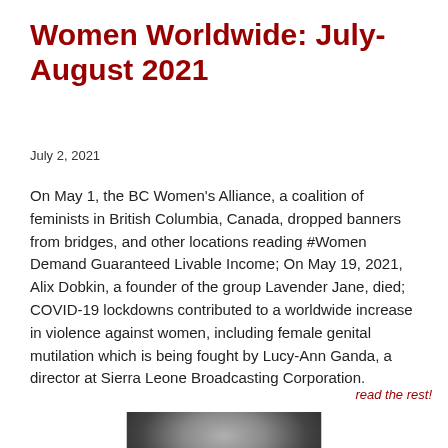Women Worldwide: July-August 2021
July 2, 2021
On May 1, the BC Women's Alliance, a coalition of feminists in British Columbia, Canada, dropped banners from bridges, and other locations reading #Women Demand Guaranteed Livable Income; On May 19, 2021, Alix Dobkin, a founder of the group Lavender Jane, died; COVID-19 lockdowns contributed to a worldwide increase in violence against women, including female genital mutilation which is being fought by Lucy-Ann Ganda, a director at Sierra Leone Broadcasting Corporation.
read the rest!
[Figure (photo): Black and white partial photo of a person's face, cropped at the bottom of the page]